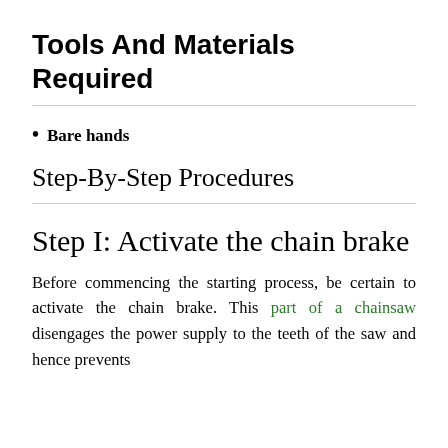Tools And Materials Required
Bare hands
Step-By-Step Procedures
Step I: Activate the chain brake
Before commencing the starting process, be certain to activate the chain brake. This part of a chainsaw disengages the power supply to the teeth of the saw and hence prevents